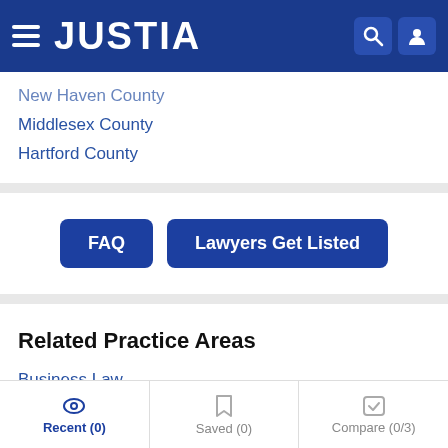JUSTIA
New Haven County
Middlesex County
Hartford County
FAQ | Lawyers Get Listed
Related Practice Areas
Business Law
Patents
Trademarks
Recent (0) | Saved (0) | Compare (0/3)